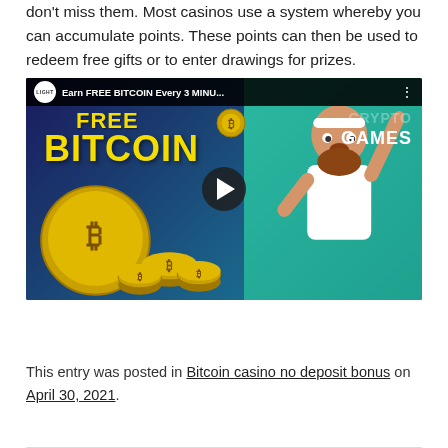don't miss them. Most casinos use a system whereby you can accumulate points. These points can then be used to redeem free gifts or to enter drawings for prizes.
[Figure (screenshot): YouTube video thumbnail showing 'Earn FREE BITCOIN Every 3 MINU...' with Light Casino logo, large yellow FREE BITCOIN text, gold bitcoin coins, CRYPTO GAMES text, and a man in white headband pointing upward. A play button is centered over the image.]
This entry was posted in Bitcoin casino no deposit bonus on April 30, 2021.